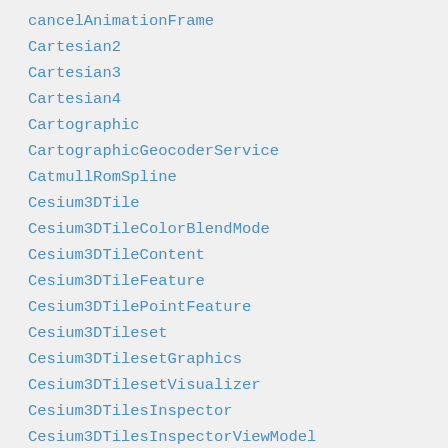cancelAnimationFrame
Cartesian2
Cartesian3
Cartesian4
Cartographic
CartographicGeocoderService
CatmullRomSpline
Cesium3DTile
Cesium3DTileColorBlendMode
Cesium3DTileContent
Cesium3DTileFeature
Cesium3DTilePointFeature
Cesium3DTileset
Cesium3DTilesetGraphics
Cesium3DTilesetVisualizer
Cesium3DTilesInspector
Cesium3DTilesInspectorViewModel
Cesium3DTileStyle
CesiumInspector
CesiumInspectorViewModel